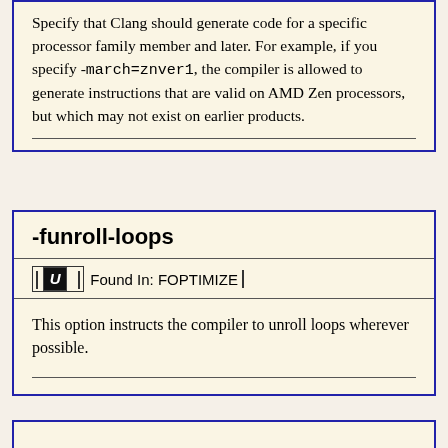Specify that Clang should generate code for a specific processor family member and later. For example, if you specify -march=znver1, the compiler is allowed to generate instructions that are valid on AMD Zen processors, but which may not exist on earlier products.
-funroll-loops
Found In: FOPTIMIZE
This option instructs the compiler to unroll loops wherever possible.